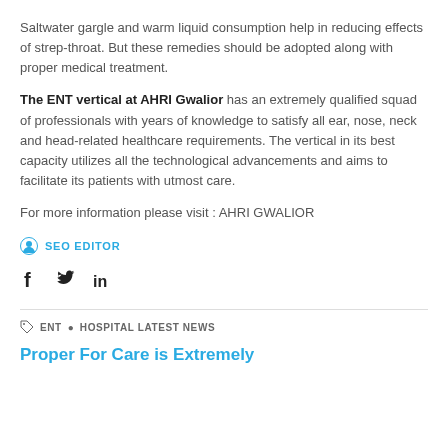Saltwater gargle and warm liquid consumption help in reducing effects of strep-throat. But these remedies should be adopted along with proper medical treatment.
The ENT vertical at AHRI Gwalior has an extremely qualified squad of professionals with years of knowledge to satisfy all ear, nose, neck and head-related healthcare requirements. The vertical in its best capacity utilizes all the technological advancements and aims to facilitate its patients with utmost care.
For more information please visit : AHRI GWALIOR
SEO EDITOR
[Figure (infographic): Social media icons: Facebook (f), Twitter (bird), LinkedIn (in)]
ENT • HOSPITAL LATEST NEWS
Proper For Care is Extremely